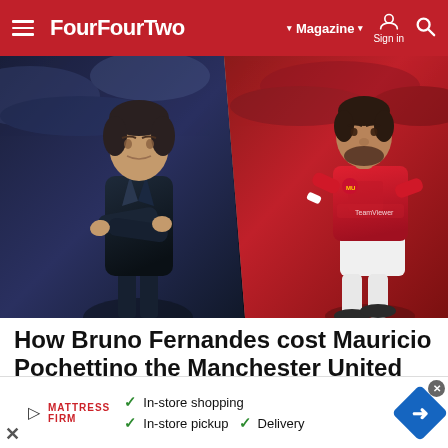FourFourTwo — Magazine | Sign in | Search
[Figure (photo): Split composite photo: left side shows Mauricio Pochettino in a dark coat gesturing; right side shows Bruno Fernandes in Manchester United red kit running]
How Bruno Fernandes cost Mauricio Pochettino the Manchester United job
Manchester United have overlooked Mauricio Pochettino
[Figure (other): Advertisement banner: Mattress Firm ad with checkmarks showing In-store shopping, In-store pickup, and Delivery options, with a blue diamond arrow logo on the right]